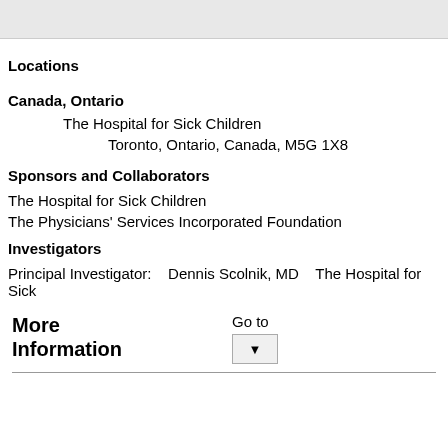Locations
Canada, Ontario
The Hospital for Sick Children
Toronto, Ontario, Canada, M5G 1X8
Sponsors and Collaborators
The Hospital for Sick Children
The Physicians' Services Incorporated Foundation
Investigators
Principal Investigator:    Dennis Scolnik, MD    The Hospital for Sick
More Information
Go to